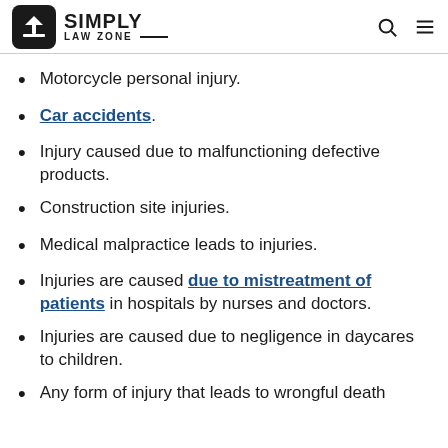SIMPLY LAW ZONE
Motorcycle personal injury.
Car accidents.
Injury caused due to malfunctioning defective products.
Construction site injuries.
Medical malpractice leads to injuries.
Injuries are caused due to mistreatment of patients in hospitals by nurses and doctors.
Injuries are caused due to negligence in daycares to children.
Any form of injury that leads to wrongful death